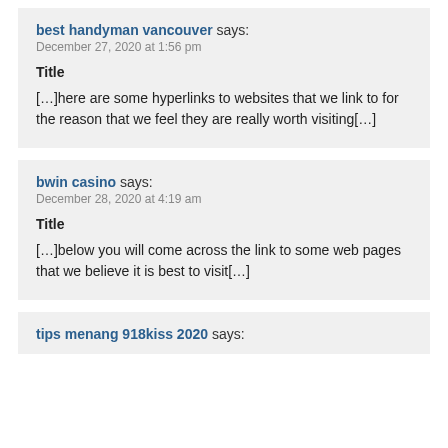best handyman vancouver says:
December 27, 2020 at 1:56 pm
Title
[…]here are some hyperlinks to websites that we link to for the reason that we feel they are really worth visiting[…]
bwin casino says:
December 28, 2020 at 4:19 am
Title
[…]below you will come across the link to some web pages that we believe it is best to visit[…]
tips menang 918kiss 2020 says: